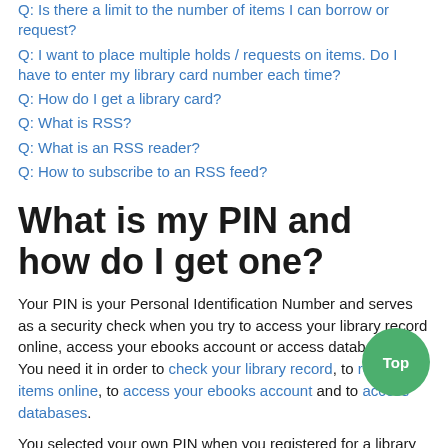Q: Is there a limit to the number of items I can borrow or request?
Q: I want to place multiple holds / requests on items. Do I have to enter my library card number each time?
Q: How do I get a library card?
Q: What is RSS?
Q: What is an RSS reader?
Q: How to subscribe to an RSS feed?
What is my PIN and how do I get one?
Your PIN is your Personal Identification Number and serves as a security check when you try to access your library record online, access your ebooks account or access databases. You need it in order to check your library record, to renew items online, to access your ebooks account and to access databases.
You selected your own PIN when you registered for a library